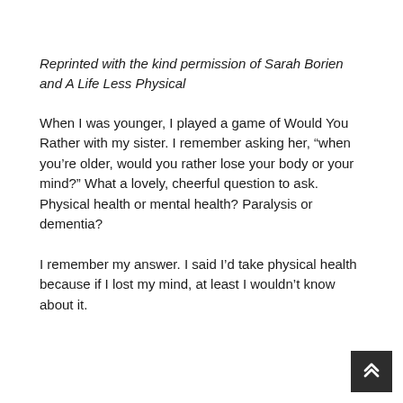Reprinted with the kind permission of Sarah Borien and A Life Less Physical
When I was younger, I played a game of Would You Rather with my sister. I remember asking her, “when you’re older, would you rather lose your body or your mind?” What a lovely, cheerful question to ask. Physical health or mental health? Paralysis or dementia?
I remember my answer. I said I’d take physical health because if I lost my mind, at least I wouldn’t know about it.
[Figure (other): Scroll-to-top button: dark square with a double upward chevron icon in the bottom-right corner of the page.]